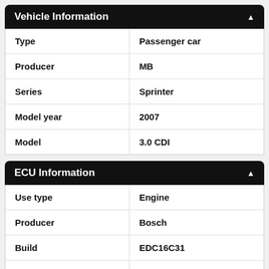Vehicle Information
| Field | Value |
| --- | --- |
| Type | Passenger car |
| Producer | MB |
| Series | Sprinter |
| Model year | 2007 |
| Model | 3.0 CDI |
ECU Information
| Field | Value |
| --- | --- |
| Use type | Engine |
| Producer | Bosch |
| Build | EDC16C31 |
| ECU-Nr. Prod. | CR40-64x-75T0-906-135kW-40N-0MEF-02-IAS-001_DPF8_ME7 |